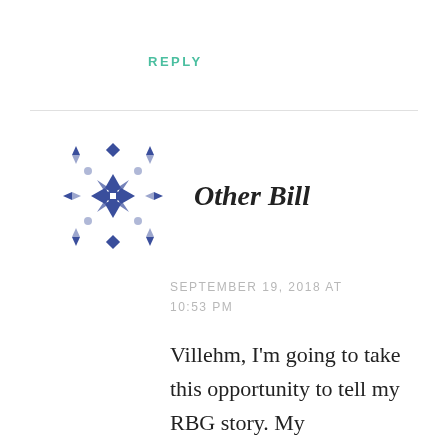REPLY
[Figure (logo): Decorative snowflake/geometric pattern avatar in navy blue, arranged in a grid of cross and diamond shapes]
Other Bill
SEPTEMBER 19, 2018 AT 10:53 PM
Villehm, I'm going to take this opportunity to tell my RBG story. My